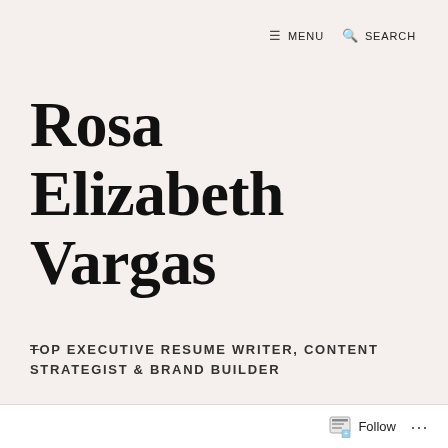≡ MENU  🔍 SEARCH
Rosa Elizabeth Vargas
TOP EXECUTIVE RESUME WRITER, CONTENT STRATEGIST & BRAND BUILDER
Website Launch: How To